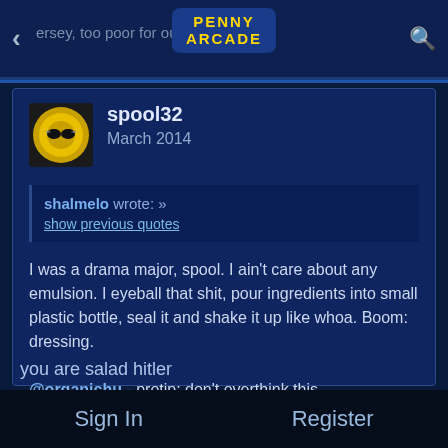Penny Arcade
spool32
March 2014
shalmelo wrote: »
show previous quotes
I was a drama major, spool. I ain't care about any emulsion. I eyeball that shit, pour ingredients into small plastic bottle, seal it and shake it up like whoa. Boom: dressing.

@organichu - protip: don't overthink this.
you are salad hitler
Sign In    Register